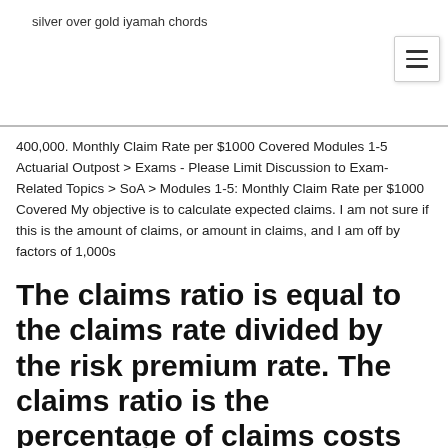silver over gold iyamah chords
400,000. Monthly Claim Rate per $1000 Covered Modules 1-5 Actuarial Outpost > Exams - Please Limit Discussion to Exam-Related Topics > SoA > Modules 1-5: Monthly Claim Rate per $1000 Covered My objective is to calculate expected claims. I am not sure if this is the amount of claims, or amount in claims, and I am off by factors of 1,000s
The claims ratio is equal to the claims rate divided by the risk premium rate. The claims ratio is the percentage of claims costs incurred in relation to the